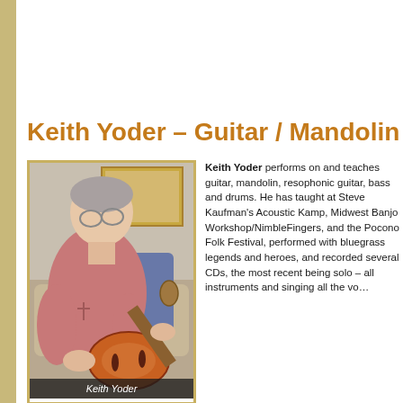Keith Yoder – Guitar / Mandolin
[Figure (photo): Photo of Keith Yoder playing mandolin, seated, wearing a pink shirt, with a caption 'Keith Yoder' at the bottom]
Keith Yoder performs on and teaches guitar, mandolin, resophonic guitar, bass and drums. He has taught at Steve Kaufman's Acoustic Kamp, Midwest Banjo Workshop/NimbleFingers, and the Pocono Folk Festival, performed with bluegrass legends and heroes, and recorded several CDs, the most recent being solo – all instruments and singing all the vo…